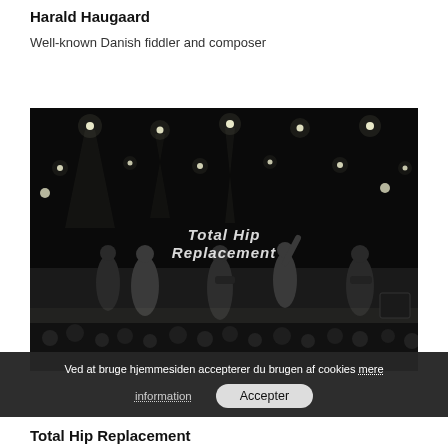Harald Haugaard
Well-known Danish fiddler and composer
[Figure (photo): Black and white photo of a band performing on stage with dramatic spotlights overhead. Text overlay reads 'Total Hip Replacement'. Several musicians including guitarists and a vocalist are visible performing to a crowd.]
Ved at bruge hjemmesiden accepterer du brugen af cookies mere information Accepter
Total Hip Replacement